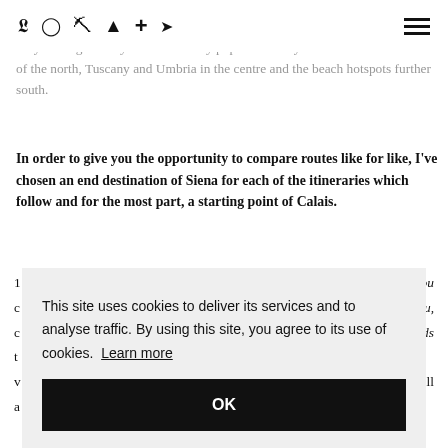Social icons: Twitter, Instagram, Pinterest, Facebook, Plus, RSS | Hamburger menu
Italy is a big country with some very popular holiday destinations – the Lakes of the north, Tuscany and Umbria in the centre and the beach hotspots further south.
In order to give you the opportunity to compare routes like for like, I've chosen an end destination of Siena for each of the itineraries which follow and for the most part, a starting point of Calais.
This site uses cookies to deliver its services and to analyse traffic. By using this site, you agree to its use of cookies. Learn more OK